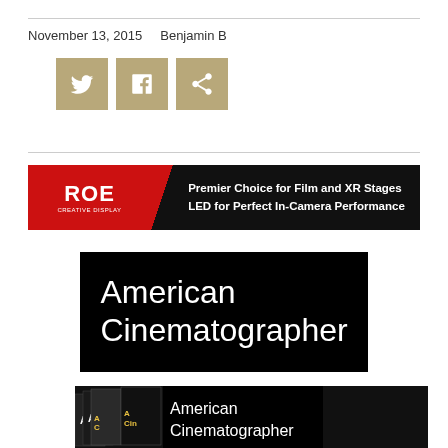November 13, 2015    Benjamin B
[Figure (screenshot): Social media sharing buttons: Twitter, Facebook, and Share/forward icons in tan/gold square buttons]
[Figure (photo): ROE Creative Display advertisement banner: red left panel with ROE logo, dark right panel with text 'Premier Choice for Film and XR Stages LED for Perfect In-Camera Performance' and blue sci-fi background imagery]
[Figure (logo): American Cinematographer logo: white text on black background reading 'American Cinematographer']
[Figure (photo): Fan of American Cinematographer magazine covers spread out showing Am Cin / American Cinematographer text on covers]